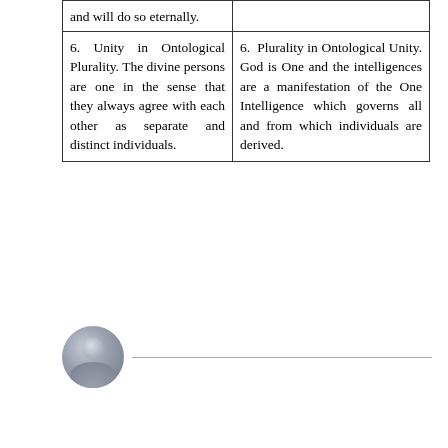| and will do so eternally. |  |
| 6. Unity in Ontological Plurality. The divine persons are one in the sense that they always agree with each other as separate and distinct individuals. | 6. Plurality in Ontological Unity. God is One and the intelligences are a manifestation of the One Intelligence which governs all and from which individuals are derived. |
[Figure (illustration): A generic user avatar icon (grey silhouette circle) with a horizontal line extending to the right, used as a comment or user profile placeholder.]